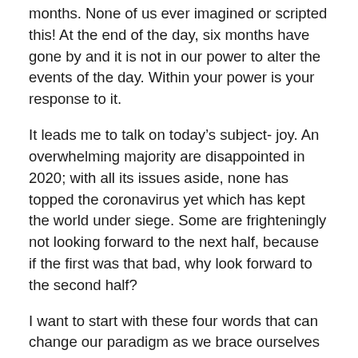months. None of us ever imagined or scripted this! At the end of the day, six months have gone by and it is not in our power to alter the events of the day. Within your power is your response to it.
It leads me to talk on today's subject- joy. An overwhelming majority are disappointed in 2020; with all its issues aside, none has topped the coronavirus yet which has kept the world under siege. Some are frighteningly not looking forward to the next half, because if the first was that bad, why look forward to the second half?
I want to start with these four words that can change our paradigm as we brace ourselves for the next six months, “count it all joy”. Before I talk about joy, let us look at what it is not.